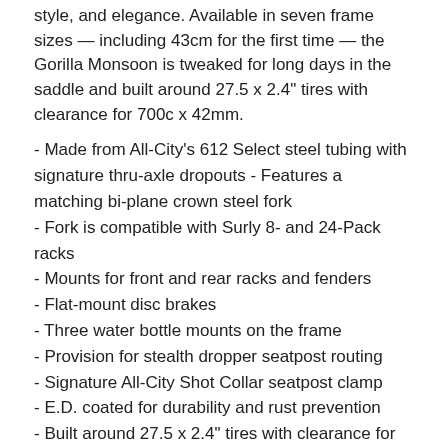style, and elegance. Available in seven frame sizes — including 43cm for the first time — the Gorilla Monsoon is tweaked for long days in the saddle and built around 27.5 x 2.4" tires with clearance for 700c x 42mm.
- Made from All-City's 612 Select steel tubing with signature thru-axle dropouts - Features a matching bi-plane crown steel fork
- Fork is compatible with Surly 8- and 24-Pack racks
- Mounts for front and rear racks and fenders
- Flat-mount disc brakes
- Three water bottle mounts on the frame
- Provision for stealth dropper seatpost routing
- Signature All-City Shot Collar seatpost clamp
- E.D. coated for durability and rust prevention
- Built around 27.5 x 2.4" tires with clearance for 700c x 42mm
Geometry